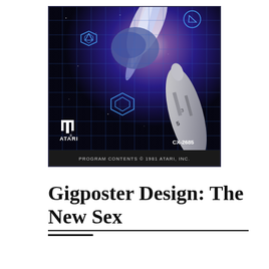[Figure (illustration): Atari CX-2685 game cartridge cover art showing a space scene with a rocket/spacecraft on the right, a planet and bright light beam in the background, blue wireframe geometric shapes (hexagons and triangles) on a dark blue grid overlay. The Atari logo and name appear in white at the lower left. Text at the bottom reads 'PROGRAM CONTENTS © 1981 ATARI, INC.' and 'CX-2685' appears at the lower right.]
Gigposter Design: The New Sex